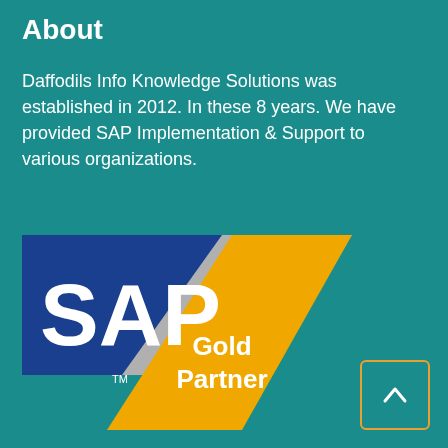About
Daffodils Info Knowledge Solutions was established in 2012. In these 8 years. We have provided SAP Implementation & Support to various organizations.
[Figure (logo): SAP Gold Partner logo — blue rectangle with white SAP text, silver and gold chevron shapes with 'Gold Partner' text in white]
[Figure (infographic): Social media icons: Twitter bird, Facebook f, LinkedIn in]
Services
SAP S/4 HANA Implementation
SAP UI/UX/Fiori-Mobility
[Figure (other): Scroll-to-top button with upward chevron arrow, orange border]